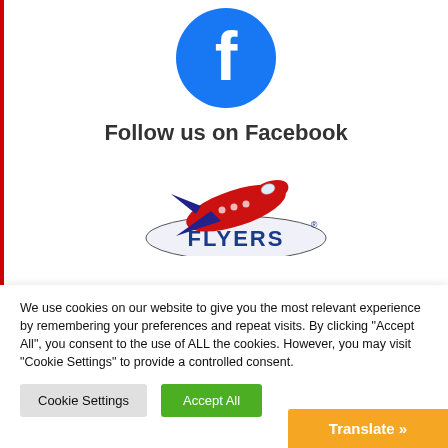[Figure (logo): Facebook logo — blue circle with white lowercase f]
Follow us on Facebook
[Figure (logo): Flyers logo with red airplane and text FLYERS]
We use cookies on our website to give you the most relevant experience by remembering your preferences and repeat visits. By clicking “Accept All”, you consent to the use of ALL the cookies. However, you may visit "Cookie Settings" to provide a controlled consent.
Cookie Settings
Accept All
Translate »